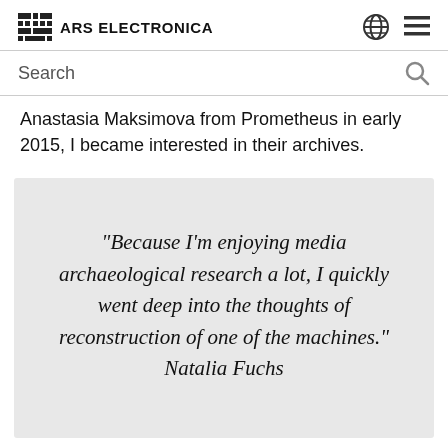ARS ELECTRONICA
Search
Anastasia Maksimova from Prometheus in early 2015, I became interested in their archives.
“Because I’m enjoying media archaeological research a lot, I quickly went deep into the thoughts of reconstruction of one of the machines.” Natalia Fuchs